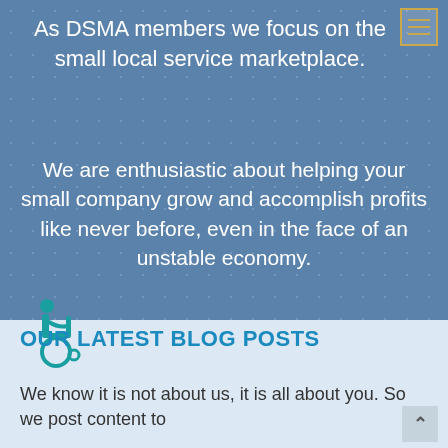As DSMA members we focus on the small local service marketplace.
We are enthusiastic about helping your small company grow and accomplish profits like never before, even in the face of an unstable economy.
[Figure (illustration): Wheelchair accessibility icon in teal color]
OUR LATEST BLOG POSTS
We know it is not about us, it is all about you. So we post content to